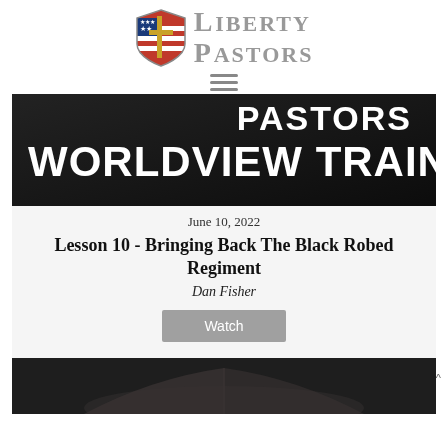[Figure (logo): Liberty Pastors logo: shield with cross and American flag, with stylized text 'Liberty Pastors' in silver/gray serif font]
[Figure (illustration): Hamburger menu icon with three horizontal gray lines]
[Figure (photo): Dark banner image with text 'PASTORS WORLDVIEW TRAINING' in white bold letters on dark background]
June 10, 2022
Lesson 10 - Bringing Back The Black Robed Regiment
Dan Fisher
[Figure (other): Gray 'Watch' button]
[Figure (photo): Partial dark image of an open book at the bottom of the page]